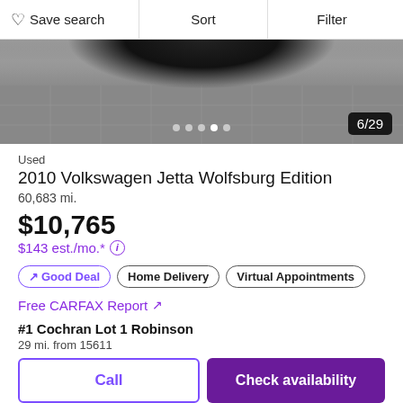Save search   Sort   Filter
[Figure (photo): Car interior/underside photo showing a dark vehicle against a tiled stone floor, image counter badge showing 6/29 with 5 dot navigation indicators]
Used
2010 Volkswagen Jetta Wolfsburg Edition
60,683 mi.
$10,765
$143 est./mo.*
Good Deal
Home Delivery
Virtual Appointments
Free CARFAX Report ↗
#1 Cochran Lot 1 Robinson
29 mi. from 15611
Call   Check availability